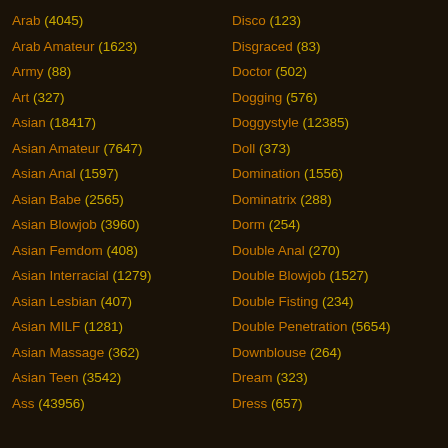Arab (4045)
Disco (123)
Arab Amateur (1623)
Disgraced (83)
Army (88)
Doctor (502)
Art (327)
Dogging (576)
Asian (18417)
Doggystyle (12385)
Asian Amateur (7647)
Doll (373)
Asian Anal (1597)
Domination (1556)
Asian Babe (2565)
Dominatrix (288)
Asian Blowjob (3960)
Dorm (254)
Asian Femdom (408)
Double Anal (270)
Asian Interracial (1279)
Double Blowjob (1527)
Asian Lesbian (407)
Double Fisting (234)
Asian MILF (1281)
Double Penetration (5654)
Asian Massage (362)
Downblouse (264)
Asian Teen (3542)
Dream (323)
Ass (43956)
Dress (657)